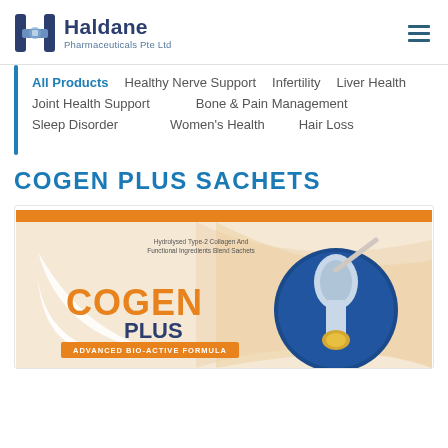Haldane Pharmaceuticals Pte Ltd
All Products  Healthy Nerve Support  Infertility  Liver Health  Joint Health Support  Bone & Pain Management  Sleep Disorder  Women's Health  Hair Loss
COGEN PLUS SACHETS
[Figure (illustration): Cogen Plus product packaging showing orange and blue design with 'Hydrolysed Type-2 Collagen And Functional Ingredients Blend Sachets' text, COGEN PLUS branding, ADVANCED BIO-ACTIVE FORMULA subtitle, and a visual of a joint/knee]